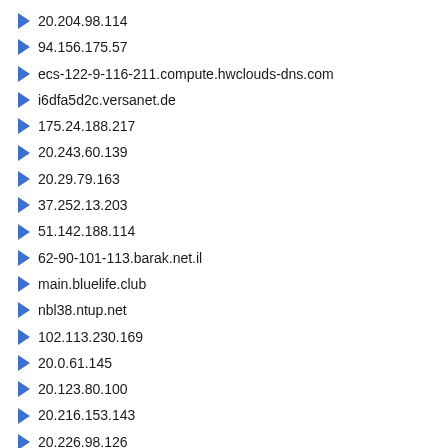20.204.98.114
94.156.175.57
ecs-122-9-116-211.compute.hwclouds-dns.com
i6dfa5d2c.versanet.de
175.24.188.217
20.243.60.139
20.29.79.163
37.252.13.203
51.142.188.114
62-90-101-113.barak.net.il
main.bluelife.club
nbl38.ntup.net
102.113.230.169
20.0.61.145
20.123.80.100
20.216.153.143
20.226.98.126
undefined.hostname.localhost
174.138.1.248